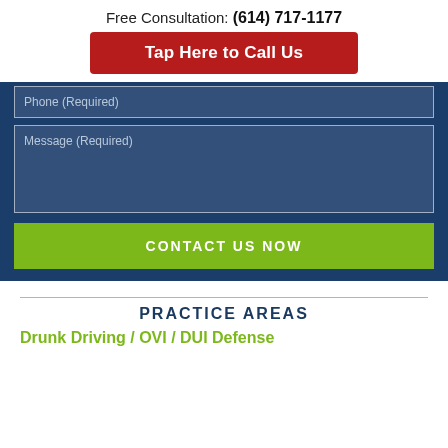Free Consultation: (614) 717-1177
Tap Here to Call Us
Phone (Required)
Message (Required)
CONTACT US NOW
PRACTICE AREAS
Drunk Driving / OVI / DUI Defense